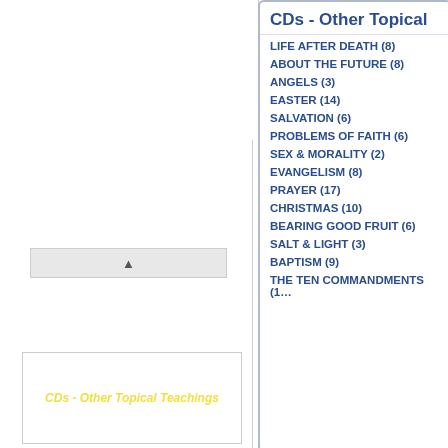CDs - Other Topical
0 Items
£0.00
LIFE AFTER DEATH (8)
ABOUT THE FUTURE (8)
ANGELS (3)
EASTER (14)
SALVATION (6)
PROBLEMS OF FAITH (6)
SEX & MORALITY (2)
EVANGELISM (8)
PRAYER (17)
CHRISTMAS (10)
BEARING GOOD FRUIT (6)
SALT & LIGHT (3)
BAPTISM (9)
THE TEN COMMANDMENTS (1...
[Figure (other): Thumbnail image with yellow italic text: CDs - Other Topical Teachings]